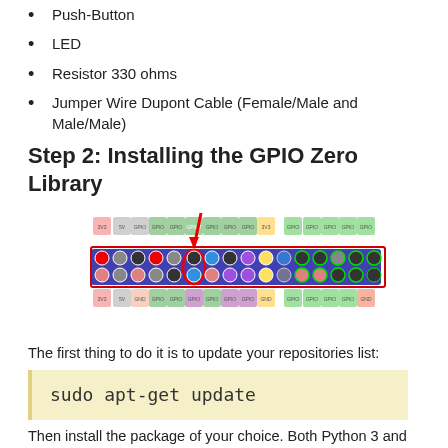Push-Button
LED
Resistor 330 ohms
Jumper Wire Dupont Cable (Female/Male and Male/Male)
Step 2: Installing the GPIO Zero Library
[Figure (schematic): Raspberry Pi GPIO pinout diagram with a red arrow pointing to a pin circled in red, showing the pin layout with colored labels.]
The first thing to do it is to update your repositories list:
sudo apt-get update
Then install the package of your choice. Both Python 3 and Python 2 are supported. Python 3 is recommended: